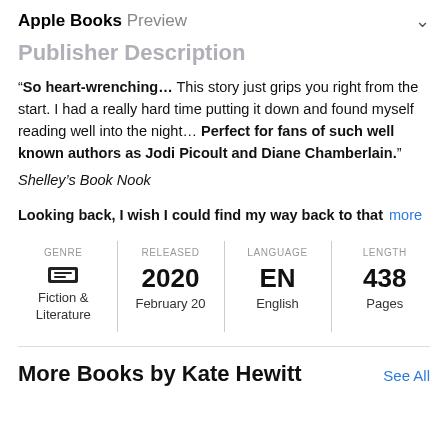Apple Books Preview
Publisher Description
“So heart-wrenching… This story just grips you right from the start. I had a really hard time putting it down and found myself reading well into the night… Perfect for fans of such well known authors as Jodi Picoult and Diane Chamberlain.” Shelley’s Book Nook
Looking back, I wish I could find my way back to that  more
| GENRE | RELEASED | LANGUAGE | LENGTH |
| --- | --- | --- | --- |
| Fiction & Literature | 2020
February 20 | EN
English | 438
Pages |
More Books by Kate Hewitt